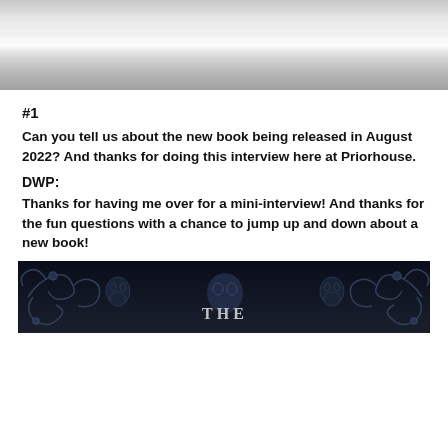[Figure (photo): Metallic brushed silver/grey gradient banner image at the top of the page]
#1
Can you tell us about the new book being released in August 2022? And thanks for doing this interview here at Priorhouse.
DWP:
Thanks for having me over for a mini-interview!  And thanks for the fun questions with a chance to jump up and down about a new book!
[Figure (photo): Dark fantasy book cover image showing ornate dark metalwork/ironwork design with the word THE visible in stylized text]